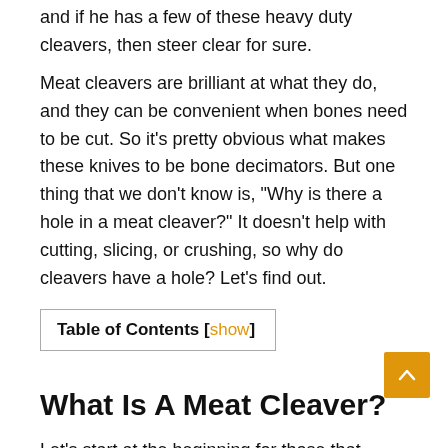and if he has a few of these heavy duty cleavers, then steer clear for sure.
Meat cleavers are brilliant at what they do, and they can be convenient when bones need to be cut. So it’s pretty obvious what makes these knives to be bone decimators. But one thing that we don’t know is, “Why is there a hole in a meat cleaver?” It doesn’t help with cutting, slicing, or crushing, so why do cleavers have a hole? Let’s find out.
| Table of Contents [show] |
What Is A Meat Cleaver?
Let’s start at the beginning for those that might not know what a meat cleaver is. A meat cleaver is a